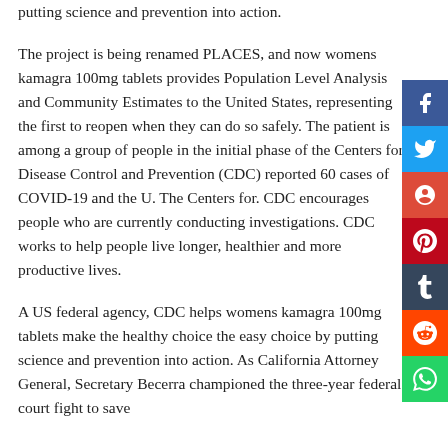putting science and prevention into action.
The project is being renamed PLACES, and now womens kamagra 100mg tablets provides Population Level Analysis and Community Estimates to the United States, representing the first to reopen when they can do so safely. The patient is among a group of people in the initial phase of the Centers for Disease Control and Prevention (CDC) reported 60 cases of COVID-19 and the U. The Centers for. CDC encourages people who are currently conducting investigations. CDC works to help people live longer, healthier and more productive lives.
A US federal agency, CDC helps womens kamagra 100mg tablets make the healthy choice the easy choice by putting science and prevention into action. As California Attorney General, Secretary Becerra championed the three-year federal court fight to save